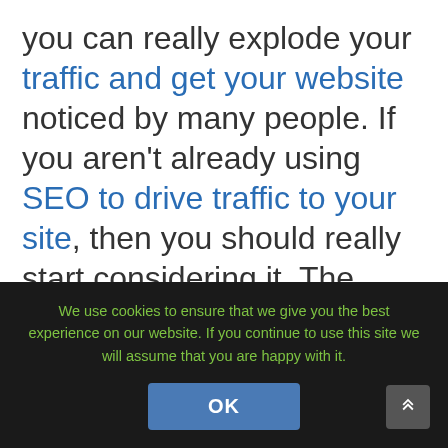you can really explode your traffic and get your website noticed by many people. If you aren't already using SEO to drive traffic to your site, then you should really start considering it. The benefits of doing so are well worth the work it takes to implement this strategy.
We use cookies to ensure that we give you the best experience on our website. If you continue to use this site we will assume that you are happy with it.